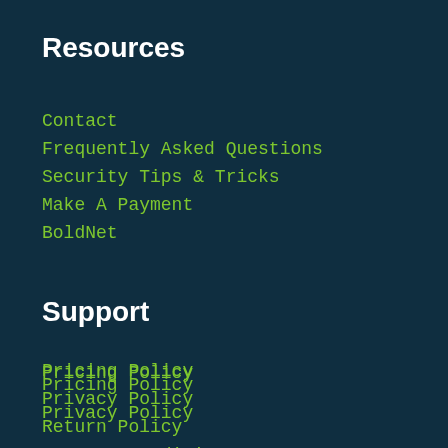Resources
Contact
Frequently Asked Questions
Security Tips & Tricks
Make A Payment
BoldNet
Support
Pricing Policy
Privacy Policy
Return Policy
Terms & Conditions